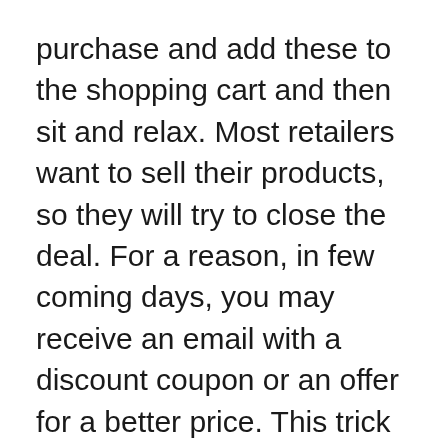purchase and add these to the shopping cart and then sit and relax. Most retailers want to sell their products, so they will try to close the deal. For a reason, in few coming days, you may receive an email with a discount coupon or an offer for a better price. This trick works for most of the online stores, but not for all.
If you are not in a hurry to buy your favorite products from your favorite shopping website, then you can select the products and then store...